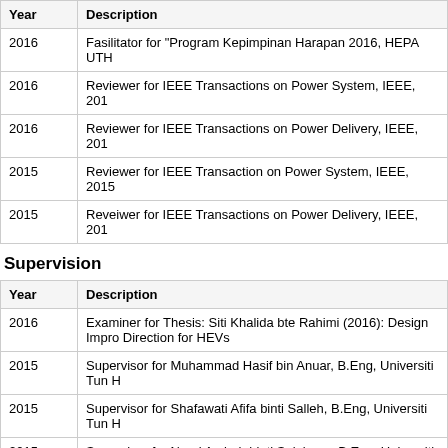| Year | Description |
| --- | --- |
| 2016 | Fasilitator for "Program Kepimpinan Harapan 2016, HEPA UTH |
| 2016 | Reviewer for IEEE Transactions on Power System, IEEE, 201 |
| 2016 | Reviewer for IEEE Transactions on Power Delivery, IEEE, 201 |
| 2015 | Reviewer for IEEE Transaction on Power System, IEEE, 2015 |
| 2015 | Reveiwer for IEEE Transactions on Power Delivery, IEEE, 201 |
Supervision
| Year | Description |
| --- | --- |
| 2016 | Examiner for Thesis: Siti Khalida bte Rahimi (2016): Design Impro Direction for HEVs |
| 2015 | Supervisor for Muhammad Hasif bin Anuar, B.Eng, Universiti Tun H |
| 2015 | Supervisor for Shafawati Afifa binti Salleh, B.Eng, Universiti Tun H |
| 2015 | Supervisor for Nurul Amirah binti Sulaiman, B.Eng, Universiti Tun H |
| 2015 | Supervisor for Jaudah binti Abd. Rani, B.Eng, Universiti Tun Husse |
| 2015 | Supervisor for Muhammad Hazwan bin Hasnan, B.Eng, Universiti |